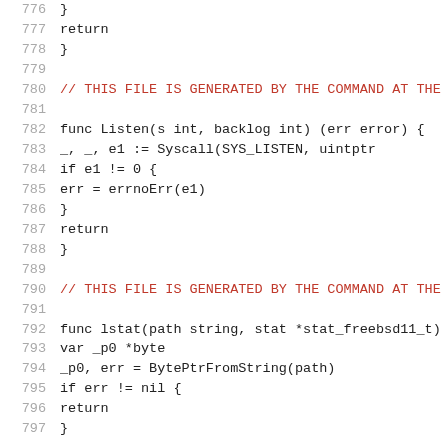776     }
777         return
778 }
779
780 // THIS FILE IS GENERATED BY THE COMMAND AT THE
781
782 func Listen(s int, backlog int) (err error) {
783         _, _, e1 := Syscall(SYS_LISTEN, uintptr
784         if e1 != 0 {
785                 err = errnoErr(e1)
786         }
787         return
788 }
789
790 // THIS FILE IS GENERATED BY THE COMMAND AT THE
791
792 func lstat(path string, stat *stat_freebsd11_t)
793         var _p0 *byte
794         _p0, err = BytePtrFromString(path)
795         if err != nil {
796                 return
797     }